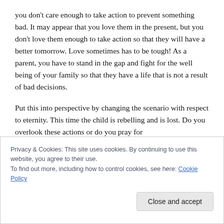you don't care enough to take action to prevent something bad. It may appear that you love them in the present, but you don't love them enough to take action so that they will have a better tomorrow. Love sometimes has to be tough! As a parent, you have to stand in the gap and fight for the well being of your family so that they have a life that is not a result of bad decisions.
Put this into perspective by changing the scenario with respect to eternity. This time the child is rebelling and is lost. Do you overlook these actions or do you pray for
Privacy & Cookies: This site uses cookies. By continuing to use this website, you agree to their use.
To find out more, including how to control cookies, see here: Cookie Policy